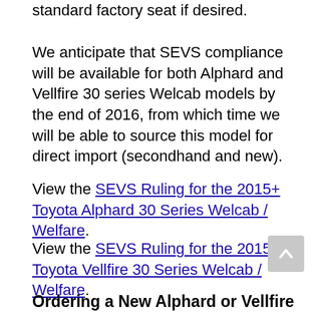standard factory seat if desired.
We anticipate that SEVS compliance will be available for both Alphard and Vellfire 30 series Welcab models by the end of 2016, from which time we will be able to source this model for direct import (secondhand and new).
View the SEVS Ruling for the 2015+ Toyota Alphard 30 Series Welcab / Welfare.
View the SEVS Ruling for the 2015+ Toyota Vellfire 30 Series Welcab / Welfare.
Ordering a New Alphard or Vellfire